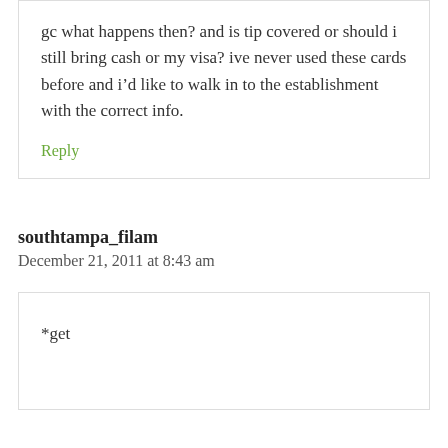gc what happens then? and is tip covered or should i still bring cash or my visa? ive never used these cards before and i’d like to walk in to the establishment with the correct info.
Reply
southtampa_filam
December 21, 2011 at 8:43 am
*get